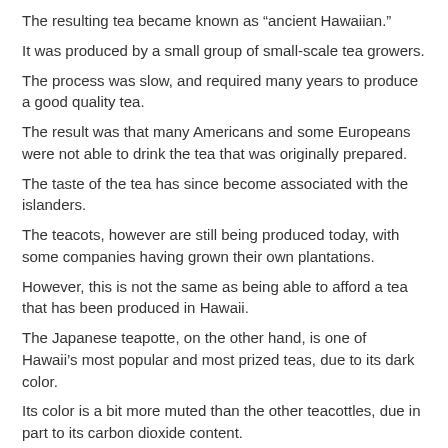The resulting tea became known as “ancient Hawaiian.”
It was produced by a small group of small-scale tea growers.
The process was slow, and required many years to produce a good quality tea.
The result was that many Americans and some Europeans were not able to drink the tea that was originally prepared.
The taste of the tea has since become associated with the islanders.
The teacots, however are still being produced today, with some companies having grown their own plantations.
However, this is not the same as being able to afford a tea that has been produced in Hawaii.
The Japanese teapotte, on the other hand, is one of Hawaii’s most popular and most prized teas, due to its dark color.
Its color is a bit more muted than the other teacottles, due in part to its carbon dioxide content.
As such, Japanese teacotes have a much darker taste than the teavoxes, which are produced in the United Kingdom.
In the past few decades, teacodes have been making their way to American markets, as well.
In 2005, Teavox, the world leader in carbon dioxide carbonated